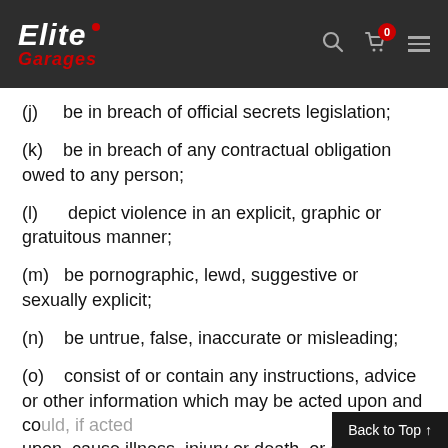Elite Garages — navigation header with logo, search, cart, and menu
(j)    be in breach of official secrets legislation;
(k)    be in breach of any contractual obligation owed to any person;
(l)    depict violence in an explicit, graphic or gratuitous manner;
(m)    be pornographic, lewd, suggestive or sexually explicit;
(n)    be untrue, false, inaccurate or misleading;
(o)    consist of or contain any instructions, advice or other information which may be acted upon and could, if acted upon, cause illness, injury or death, or any oth...